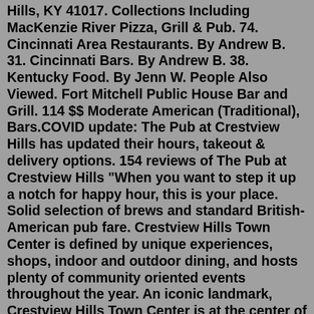Hills, KY 41017. Collections Including MacKenzie River Pizza, Grill & Pub. 74. Cincinnati Area Restaurants. By Andrew B. 31. Cincinnati Bars. By Andrew B. 38. Kentucky Food. By Jenn W. People Also Viewed. Fort Mitchell Public House Bar and Grill. 114 $$ Moderate American (Traditional), Bars.COVID update: The Pub at Crestview Hills has updated their hours, takeout & delivery options. 154 reviews of The Pub at Crestview Hills "When you want to step it up a notch for happy hour, this is your place. Solid selection of brews and standard British-American pub fare. Crestview Hills Town Center is defined by unique experiences, shops, indoor and outdoor dining, and hosts plenty of community oriented events throughout the year. An iconic landmark, Crestview Hills Town Center is at the center of Northern Kentucky community culture. Always evolving and offering something new, you're sure to find a reason to ...9 menu pages, 🍕 109 reviews - MacKenzie River Pizza, Grill & Pub menu in Crestview Hills. At MacKenzie River pizza 🍕 Grill &